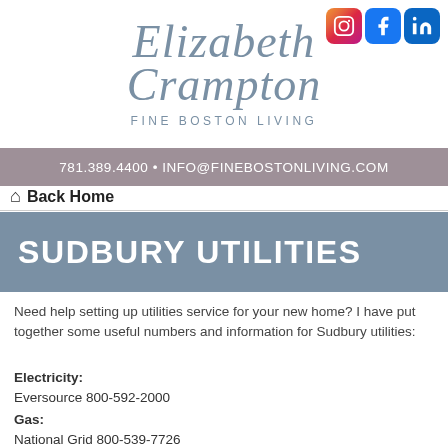[Figure (logo): Elizabeth Crampton Fine Boston Living logo in blue-grey script/serif text]
[Figure (logo): Social media icons: Instagram, Facebook, LinkedIn in top-right corner]
781.389.4400 • INFO@FINEBOSTONLIVING.COM
Back Home
SUDBURY UTILITIES
Need help setting up utilities service for your new home? I have put together some useful numbers and information for Sudbury utilities:
Electricity:
Eversource 800-592-2000
Gas:
National Grid 800-539-7726